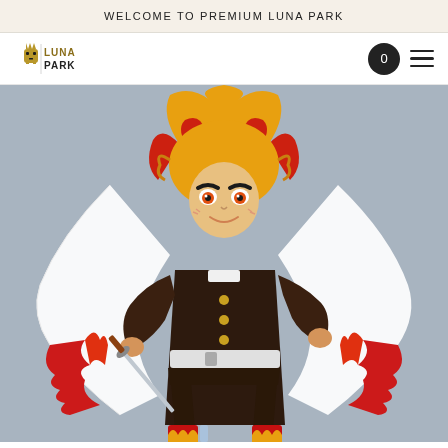WELCOME TO PREMIUM LUNA PARK
[Figure (logo): Luna Park logo with stylized crown/mask icon and text LUNA PARK in golden/dark color]
[Figure (photo): Action figure of Rengoku Kyojuro from Demon Slayer (Kimetsu no Yaiba), figma style, holding a katana sword, wearing flame-patterned haori cloak, brown uniform with gold buttons, white belt, red boots with flame motif, dynamic pose against gray background]